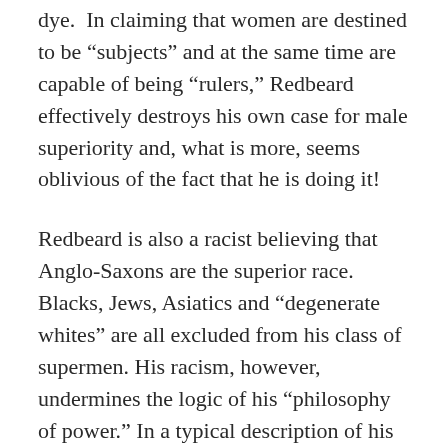dye. In claiming that women are destined to be “subjects” and at the same time are capable of being “rulers,” Redbeard effectively destroys his own case for male superiority and, what is more, seems oblivious of the fact that he is doing it!
Redbeard is also a racist believing that Anglo-Saxons are the superior race. Blacks, Jews, Asiatics and “degenerate whites” are all excluded from his class of supermen. His racism, however, undermines the logic of his “philosophy of power.” In a typical description of his philosophy he writes of the capitalist that he can ‘do as he likes with his own,’ as long as he has the power. He may own the earth...if he wants to, and he may